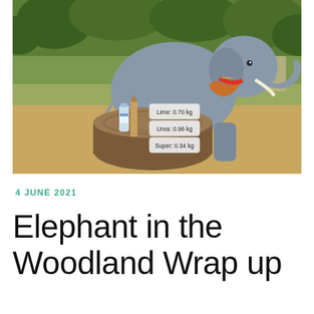[Figure (photo): An inflatable grey elephant with a colourful scarf/bandana around its neck stands outdoors on a grassy area with trees in background. In the foreground on a large tree stump are a water bottle, a wooden stake, and three labelled bags of fertiliser: Lime: 0.70 kg, Urea: 0.96 kg, Super: 0.34 kg.]
4 JUNE 2021
Elephant in the Woodland Wrap up